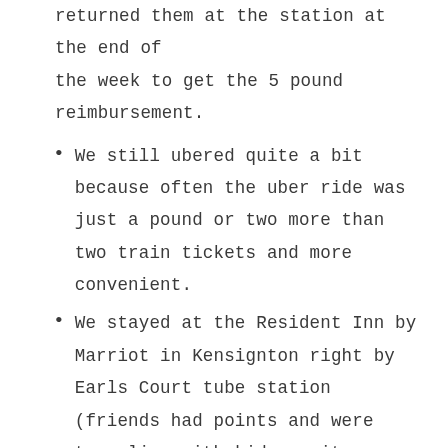returned them at the station at the end of the week to get the 5 pound reimbursement.
We still ubered quite a bit because often the uber ride was just a pound or two more than two train tickets and more convenient.
We stayed at the Resident Inn by Marriot in Kensignton right by Earls Court tube station (friends had points and were traveling with kids so it was a great fit). It would have been more convenient to a lot of things to be staying more central but the price was good and the flat-lined Kensington streets were so cute. I was also really happy to have Marriot amenities (a fantastic mattress, thick towels, and great water pressure, plus a good